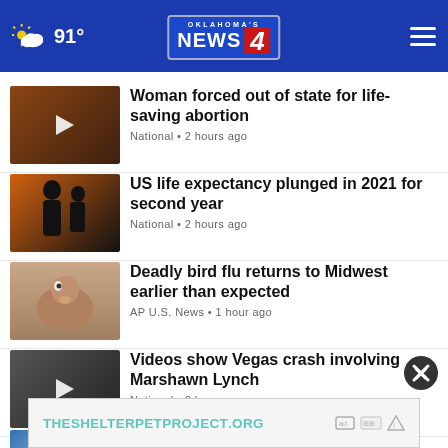Oklahoma's News 4 — 91°
Woman forced out of state for life-saving abortion — National • 2 hours ago
US life expectancy plunged in 2021 for second year — National • 2 hours ago
Deadly bird flu returns to Midwest earlier than expected — AP U.S. News • 1 hour ago
Videos show Vegas crash involving Marshawn Lynch — National • 2 hours ago
Silver lining: Northeast drought benefits some businesses
THESHELTERPETPROJECT.ORG